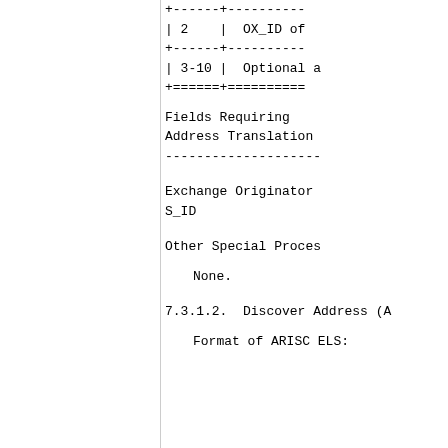| 2 | OX_ID of |
| 3-10 | Optional a |
Fields Requiring
Address Translation
--------------------
Exchange Originator
S_ID
Other Special Proces
None.
7.3.1.2.  Discover Address (A
Format of ARISC ELS: